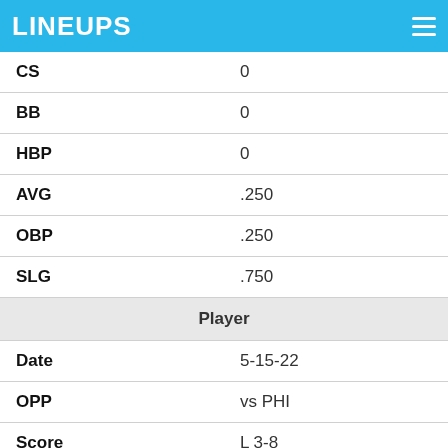LINEUPS
| CS | 0 |
| BB | 0 |
| HBP | 0 |
| AVG | .250 |
| OBP | .250 |
| SLG | .750 |
| Player |  |
| Date | 5-15-22 |
| OPP | vs PHI |
| Score | L 3-8 |
| OPPOSING SP | Ranger Suarez |
| Fantasy Points |  |
| FPTS | 11.6 |